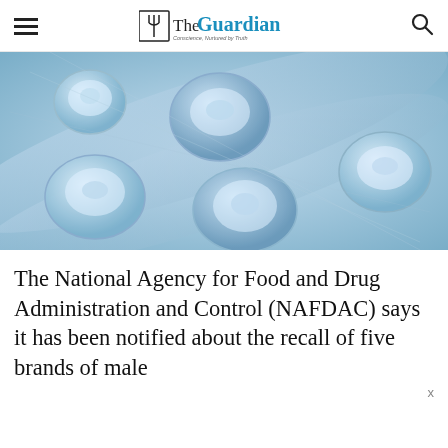The Guardian — Conscience, Nurtured by Truth
[Figure (photo): Close-up photo of blister packs of pills/tablets in blue tones]
The National Agency for Food and Drug Administration and Control (NAFDAC) says it has been notified about the recall of five brands of male